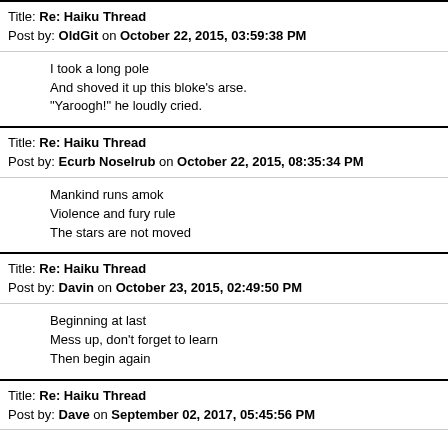Title: Re: Haiku Thread
Post by: OldGit on October 22, 2015, 03:59:38 PM
I took a long pole
And shoved it up this bloke's arse.
"Yaroogh!" he loudly cried.
Title: Re: Haiku Thread
Post by: Ecurb Noselrub on October 22, 2015, 08:35:34 PM
Mankind runs amok
Violence and fury rule
The stars are not moved
Title: Re: Haiku Thread
Post by: Davin on October 23, 2015, 02:49:50 PM
Beginning at last
Mess up, don't forget to learn
Then begin again
Title: Re: Haiku Thread
Post by: Dave on September 02, 2017, 05:45:56 PM